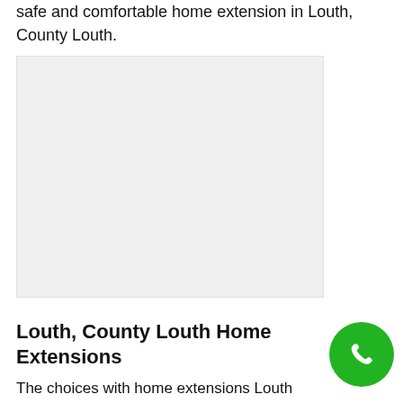safe and comfortable home extension in Louth, County Louth.
[Figure (photo): Placeholder image - light grey rectangle representing a home extension photo]
Louth, County Louth Home Extensions
[Figure (other): Green circular phone call button with white telephone handset icon]
The choices with home extensions Louth